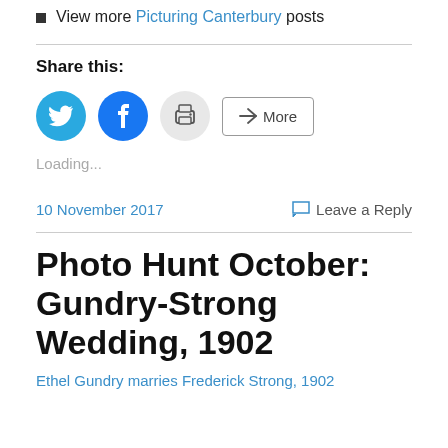View more Picturing Canterbury posts
Share this:
[Figure (other): Social share buttons: Twitter (blue circle), Facebook (blue circle), Print (grey circle), More (outlined button with share icon)]
Loading...
10 November 2017   Leave a Reply
Photo Hunt October: Gundry-Strong Wedding, 1902
Ethel Gundry marries Frederick Strong, 1902